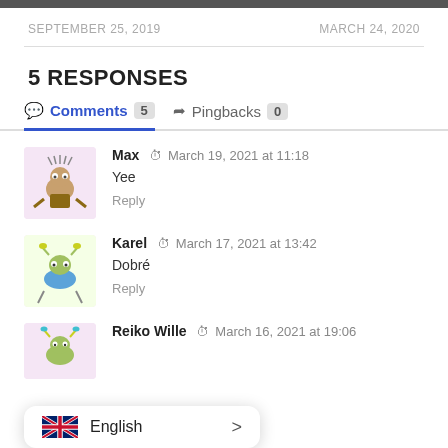SEPTEMBER 25, 2019   MARCH 24, 2020
5 RESPONSES
Comments 5   Pingbacks 0
Max  March 19, 2021 at 11:18
Yee
Reply
Karel  March 17, 2021 at 13:42
Dobré
Reply
Reiko Wille  March 16, 2021 at 19:06
English